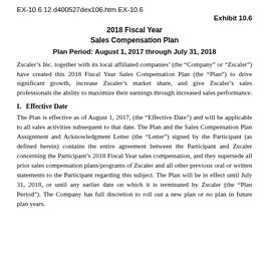EX-10.6 12 d400527dex106.htm EX-10.6
Exhibit 10.6
2018 Fiscal Year
Sales Compensation Plan
Plan Period: August 1, 2017 through July 31, 2018
Zscaler’s Inc. together with its local affiliated companies’ (the “Company” or “Zscaler”) have created this 2018 Fiscal Year Sales Compensation Plan (the “Plan”) to drive significant growth, increase Zscaler’s market share, and give Zscaler’s sales professionals the ability to maximize their earnings through increased sales performance.
I. Effective Date
The Plan is effective as of August 1, 2017, (the “Effective Date”) and will be applicable to all sales activities subsequent to that date. The Plan and the Sales Compensation Plan Assignment and Acknowledgment Letter (the “Letter”) signed by the Participant (as defined herein) contains the entire agreement between the Participant and Zscaler concerning the Participant’s 2018 Fiscal Year sales compensation, and they supersede all prior sales compensation plans/programs of Zscaler and all other previous oral or written statements to the Participant regarding this subject. The Plan will be in effect until July 31, 2018, or until any earlier date on which it is terminated by Zscaler (the “Plan Period”). The Company has full discretion to roll out a new plan or no plan in future plan years.